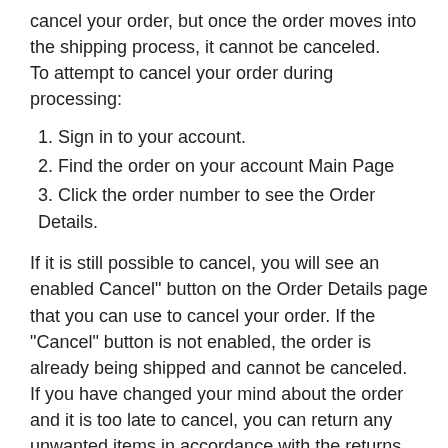cancel your order, but once the order moves into the shipping process, it cannot be canceled.
To attempt to cancel your order during processing:
1. Sign in to your account.
2. Find the order on your account Main Page
3. Click the order number to see the Order Details.
If it is still possible to cancel, you will see an enabled Cancel" button on the Order Details page that you can use to cancel your order. If the "Cancel" button is not enabled, the order is already being shipped and cannot be canceled.
If you have changed your mind about the order and it is too late to cancel, you can return any unwanted items in accordance with the returns policy.
Order Cancellation from